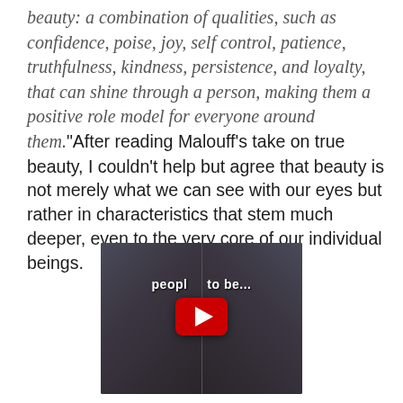beauty: a combination of qualities, such as confidence, poise, joy, self control, patience, truthfulness, kindness, persistence, and loyalty, that can shine through a person, making them a positive role model for everyone around them.”After reading Malouff’s take on true beauty, I couldn’t help but agree that beauty is not merely what we can see with our eyes but rather in characteristics that stem much deeper, even to the very core of our individual beings.
[Figure (screenshot): YouTube video thumbnail showing a woman's face mirrored/duplicated side by side with text overlay reading 'people to be...' and a YouTube play button in the center]